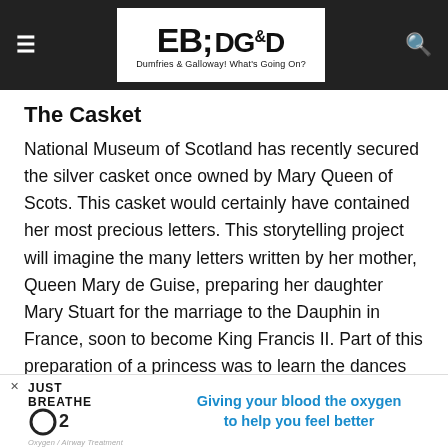Dumfries & Galloway! What's Going On?
The Casket
National Museum of Scotland has recently secured the silver casket once owned by Mary Queen of Scots. This casket would certainly have contained her most precious letters. This storytelling project will imagine the many letters written by her mother, Queen Mary de Guise, preparing her daughter Mary Stuart for the marriage to the Dauphin in France, soon to become King Francis II. Part of this preparation of a princess was to learn the dances that were required to be danced at the royal ... tradition of historical dancing, leading back to
[Figure (other): Advertisement banner: JUST BREATHE O2 logo with text 'Giving your blood the oxygen to help you feel better']